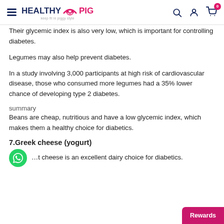[Figure (logo): Healthy Pig logo with hamburger menu and navigation icons including search, account, and cart with badge showing 0]
Their glycemic index is also very low, which is important for controlling diabetes.
Legumes may also help prevent diabetes.
In a study involving 3,000 participants at high risk of cardiovascular disease, those who consumed more legumes had a 35% lower chance of developing type 2 diabetes.
summary
Beans are cheap, nutritious and have a low glycemic index, which makes them a healthy choice for diabetics.
7.Greek cheese (yogurt)
…t cheese is an excellent dairy choice for diabetics.